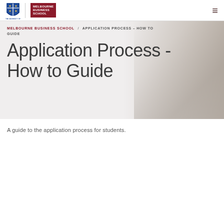Melbourne Business School - University of Melbourne logo and navigation
MELBOURNE BUSINESS SCHOOL / APPLICATION PROCESS - HOW TO GUIDE
Application Process - How to Guide
A guide to the application process for students.